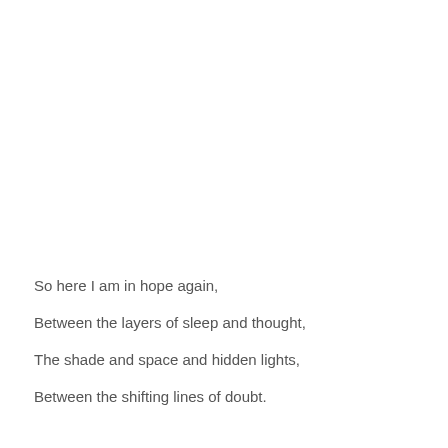So here I am in hope again,
Between the layers of sleep and thought,
The shade and space and hidden lights,
Between the shifting lines of doubt.

I ti i i f ff